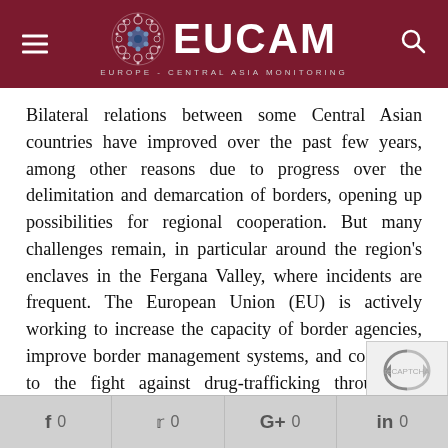EUCAM — EUROPE - CENTRAL ASIA MONITORING
Bilateral relations between some Central Asian countries have improved over the past few years, among other reasons due to progress over the delimitation and demarcation of borders, opening up possibilities for regional cooperation. But many challenges remain, in particular around the region's enclaves in the Fergana Valley, where incidents are frequent. The European Union (EU) is actively working to increase the capacity of border agencies, improve border management systems, and contribute to the fight against drug-trafficking through its BOMCA (Border Management in Central Asia) programme. These activities, combined with the EU's experience with enclaves in its own territory, could be of value to
f 0 | Twitter 0 | G+ 0 | in 0